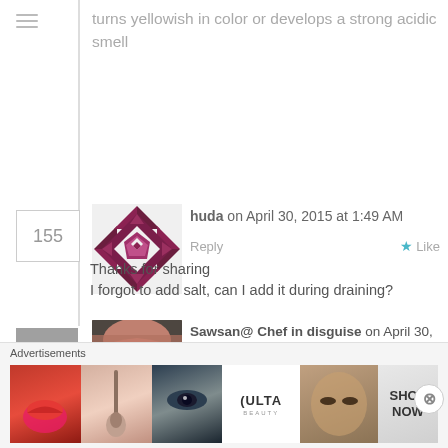turns yellowish in color or develops a strong acidic smell
huda on April 30, 2015 at 1:49 AM
Reply
Thanks for sharing
I forgot to add salt, can I add it during draining?
Sawsan@ Chef in disguise on April 30, 2015 at 7:35 AM
Reply
Advertisements